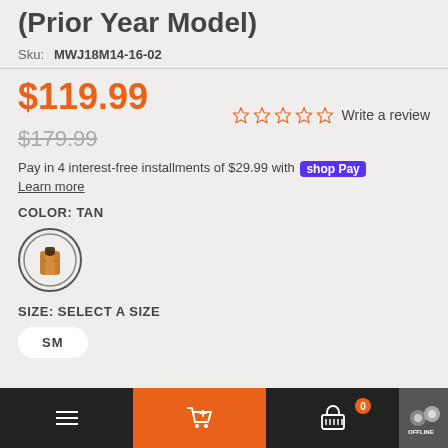(Prior Year Model)
Sku: MWJ18M14-16-02
$119.99
Write a review
$179.99
Pay in 4 interest-free installments of $29.99 with Shop Pay
Learn more
COLOR: TAN
[Figure (photo): Tan quilted vest product swatch image in circular frame]
SIZE: SELECT A SIZE
SM